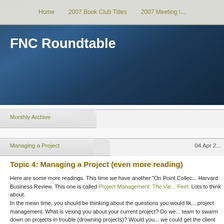FNC Roundtable
Home   2007 Book Club Titles   2007 Meeting I...
Monthly Archive
Managing a Project   04 Apr 2...
Topic 4: Managing a Project (even more reading)
Here are some more readings. This time we have another "On Point Collec... Harvard Business Review. This one is called Project Management: The Vie... Feet. Lots to think about.
In the mean time, you should be thinking about the questions you would lik... project management. What is vexing you about your current project? Do we... team to swarm down on projects in trouble (drowning projects)? Would you... we could get the client to agree to something? What about getting everyone... agree? What do we do about the "just one more item" on the list problem?
Start thinking about your issues, read the materials and be ready for our m...